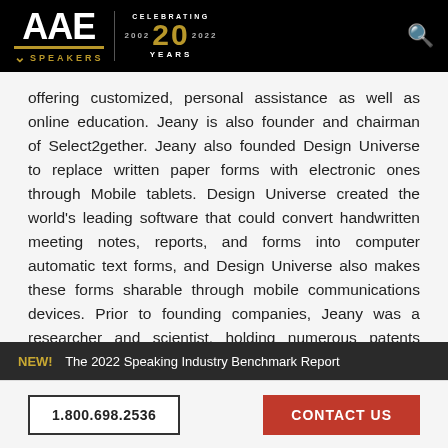AAE SPEAKERS — Celebrating 20 Years
offering customized, personal assistance as well as online education. Jeany is also founder and chairman of Select2gether. Jeany also founded Design Universe to replace written paper forms with electronic ones through Mobile tablets. Design Universe created the world's leading software that could convert handwritten meeting notes, reports, and forms into computer automatic text forms, and Design Universe also makes these forms sharable through mobile communications devices. Prior to founding companies, Jeany was a researcher and scientist, holding numerous patents related to her work in hardware and software
NEW! The 2022 Speaking Industry Benchmark Report | 1.800.698.2536 | CONTACT US